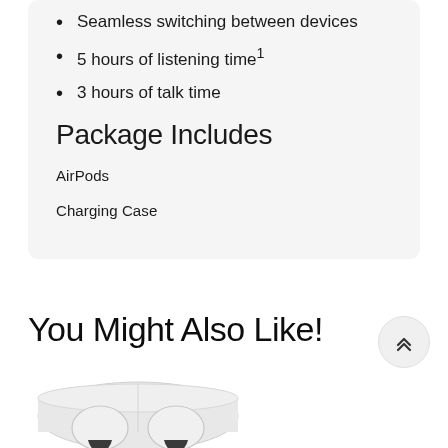Seamless switching between devices
5 hours of listening time¹
3 hours of talk time
Package Includes
AirPods
Charging Case
You Might Also Like!
[Figure (photo): AirPods in their charging case, viewed from the front, showing two AirPods with white earbuds partially visible]